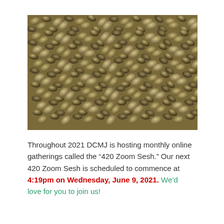[Figure (photo): Close-up photograph of a large pile of hemp/cannabis seeds, showing many small oval seeds in varying shades of brown, tan, and dark brown/grey.]
Throughout 2021 DCMJ is hosting monthly online gatherings called the “420 Zoom Sesh.” Our next 420 Zoom Sesh is scheduled to commence at 4:19pm on Wednesday, June 9, 2021. We’d love for you to join us!